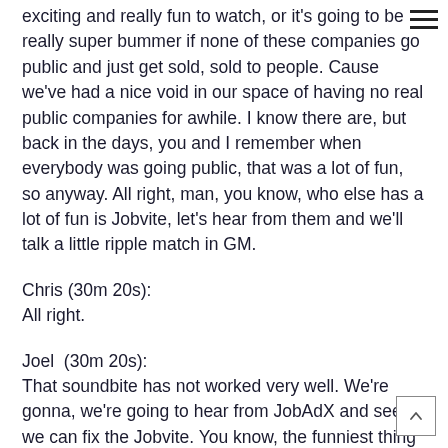exciting and really fun to watch, or it's going to be really super bummer if none of these companies go public and just get sold, sold to people. Cause we've had a nice void in our space of having no real public companies for awhile. I know there are, but back in the days, you and I remember when everybody was going public, that was a lot of fun, so anyway. All right, man, you know, who else has a lot of fun is Jobvite, let's hear from them and we'll talk a little ripple match in GM.
Chris (30m 20s):
All right.
Joel  (30m 20s):
That soundbite has not worked very well. We're gonna, we're going to hear from JobAdX and see if we can fix the Jobvite. You know, the funniest thing is this, this is the most attention those companies will have gotten on the show probably in a long time. So, okay everybody we may have, we may have lost. Yeah. Our